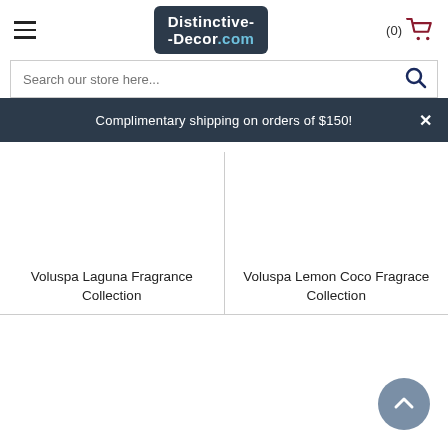Distinctive-Decor.com
Search our store here...
Complimentary shipping on orders of $150!
Voluspa Laguna Fragrance Collection
Voluspa Lemon Coco Fragrace Collection